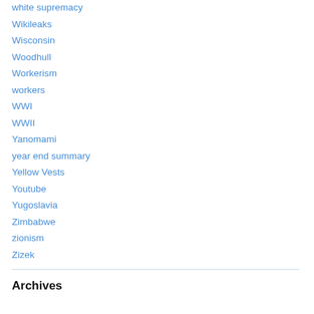white supremacy
Wikileaks
Wisconsin
Woodhull
Workerism
workers
WWI
WWII
Yanomami
year end summary
Yellow Vests
Youtube
Yugoslavia
Zimbabwe
zionism
Zizek
Archives